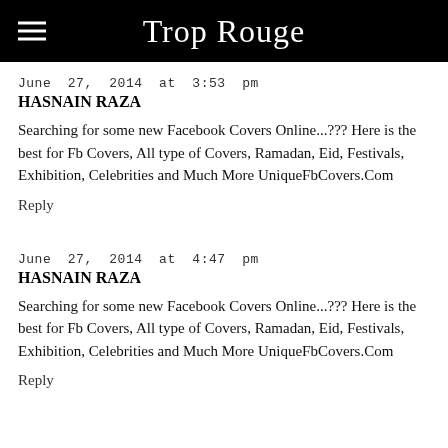Trop Rouge
June 27, 2014 at 3:53 pm
HASNAIN RAZA
Searching for some new Facebook Covers Online...??? Here is the best for Fb Covers, All type of Covers, Ramadan, Eid, Festivals, Exhibition, Celebrities and Much More UniqueFbCovers.Com
Reply
June 27, 2014 at 4:47 pm
HASNAIN RAZA
Searching for some new Facebook Covers Online...??? Here is the best for Fb Covers, All type of Covers, Ramadan, Eid, Festivals, Exhibition, Celebrities and Much More UniqueFbCovers.Com
Reply